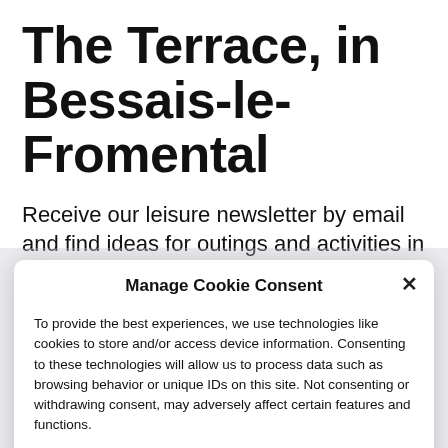The Terrace, in Bessais-le-Fromental
Receive our leisure newsletter by email and find ideas for outings and activities in your region.
Manage Cookie Consent
To provide the best experiences, we use technologies like cookies to store and/or access device information. Consenting to these technologies will allow us to process data such as browsing behavior or unique IDs on this site. Not consenting or withdrawing consent, may adversely affect certain features and functions.
Accept
Cookie Policy